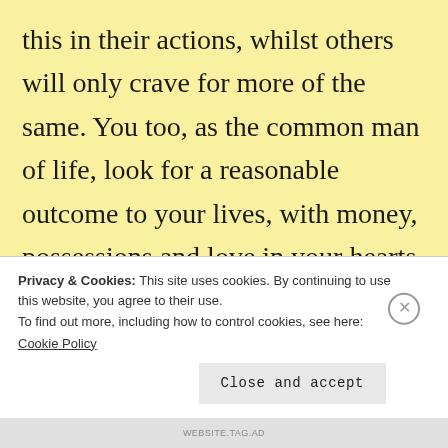this in their actions, whilst others will only crave for more of the same. You too, as the common man of life, look for a reasonable outcome to your lives, with money, possessions and love in your hearts. Much is provided for in order to help you upon your way, but only as much as is necessary.
Privacy & Cookies: This site uses cookies. By continuing to use this website, you agree to their use.
To find out more, including how to control cookies, see here:
Cookie Policy
Close and accept